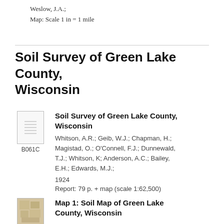Weslow, J.A.;
Map: Scale 1 in = 1 mile
Soil Survey of Green Lake County, Wisconsin
[Figure (illustration): Small thumbnail image of a document page with horizontal lines, labeled B061C below]
Soil Survey of Green Lake County, Wisconsin
Whitson, A.R.; Geib, W.J.; Chapman, H.; Magistad, O.; O'Connell, F.J.; Dunnewald, T.J.; Whitson, K; Anderson, A.C.; Bailey, E.H.; Edwards, M.J.;
1924
Report: 79 p. + map (scale 1:62,500)
[Figure (map): Small thumbnail of a soil map with brown/tan coloring]
Map 1: Soil Map of Green Lake County, Wisconsin